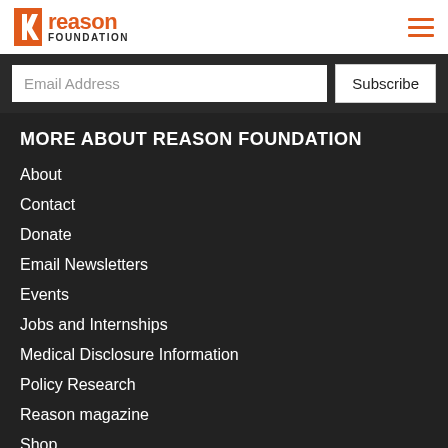Reason Foundation
Email Address | Subscribe
MORE ABOUT REASON FOUNDATION
About
Contact
Donate
Email Newsletters
Events
Jobs and Internships
Medical Disclosure Information
Policy Research
Reason magazine
Shop